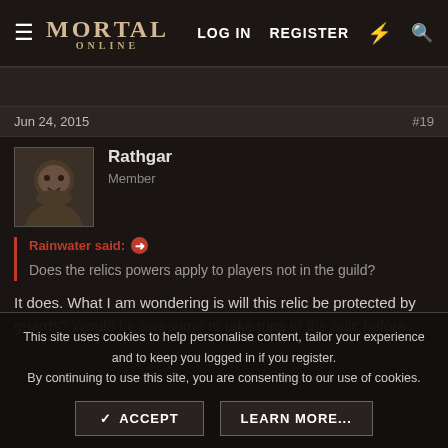Mortal Online — LOG IN   REGISTER
Jun 24, 2015   #19
Rathgar
Member
Rainwater said: Does the relics powers apply to players not in the guild?
It does. What I am wondering is will this relic be protected by guards? Would be awesome to take trips to the relic before
This site uses cookies to help personalise content, tailor your experience and to keep you logged in if you register.
By continuing to use this site, you are consenting to our use of cookies.